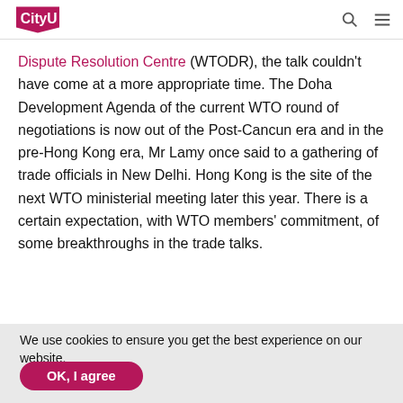CityU logo with search and menu icons
Dispute Resolution Centre (WTODR), the talk couldn't have come at a more appropriate time. The Doha Development Agenda of the current WTO round of negotiations is now out of the Post-Cancun era and in the pre-Hong Kong era, Mr Lamy once said to a gathering of trade officials in New Delhi. Hong Kong is the site of the next WTO ministerial meeting later this year. There is a certain expectation, with WTO members' commitment, of some breakthroughs in the trade talks.
We use cookies to ensure you get the best experience on our website.
OK, I agree